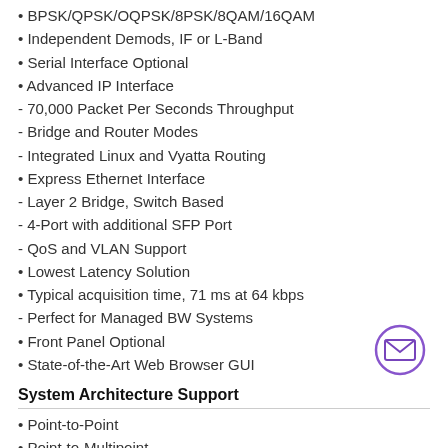• BPSK/QPSK/OQPSK/8PSK/8QAM/16QAM
• Independent Demods, IF or L-Band
• Serial Interface Optional
• Advanced IP Interface
- 70,000 Packet Per Seconds Throughput
- Bridge and Router Modes
- Integrated Linux and Vyatta Routing
• Express Ethernet Interface
- Layer 2 Bridge, Switch Based
- 4-Port with additional SFP Port
- QoS and VLAN Support
• Lowest Latency Solution
• Typical acquisition time, 71 ms at 64 kbps
- Perfect for Managed BW Systems
• Front Panel Optional
• State-of-the-Art Web Browser GUI
[Figure (illustration): Envelope/email icon inside a purple circle]
System Architecture Support
• Point-to-Point
• Point-to-Multipoint